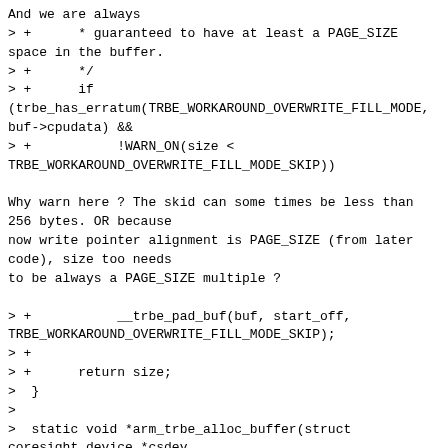And we are always
> +      * guaranteed to have at least a PAGE_SIZE space in the buffer.
> +      */
> +      if (trbe_has_erratum(TRBE_WORKAROUND_OVERWRITE_FILL_MODE, buf->cpudata) &&
> +           !WARN_ON(size < TRBE_WORKAROUND_OVERWRITE_FILL_MODE_SKIP))

Why warn here ? The skid can some times be less than 256 bytes. OR because
now write pointer alignment is PAGE_SIZE (from later code), size too needs
to be always a PAGE_SIZE multiple ?

> +           __trbe_pad_buf(buf, start_off, TRBE_WORKAROUND_OVERWRITE_FILL_MODE_SKIP);
> +
> +      return size;
>  }
>
>  static void *arm_trbe_alloc_buffer(struct coresight_device *csdev,
> @@ -704,20 +728,73 @@ static unsigned long arm_trbe_update_buffer(struct coresight_device *csdev,
>       return size;
>  }
>
> +